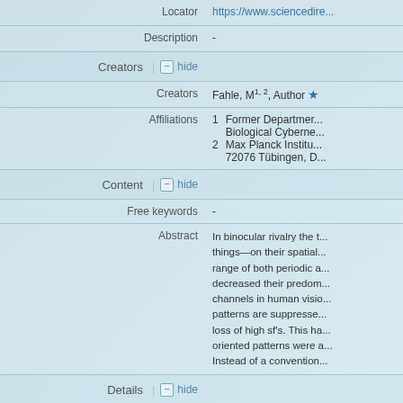| Locator | https://www.sciencedire... |
| Description | - |
| Creators | hide | Creators: Fahle, M1, 2, Author | Affiliations: 1 Former Department Biological Cyberne... 2 Max Planck Institu... 72076 Tübingen, D... |
| Content | hide | Free keywords: - | Abstract: In binocular rivalry the t... things—on their spatial... range of both periodic a... decreased their predom... channels in human visio... patterns are suppresse... loss of high sf's. This ha... oriented patterns were a... Instead of a convention... |
| Details | hide | Language(s) | Dates: Published in Print: 1982-07 |